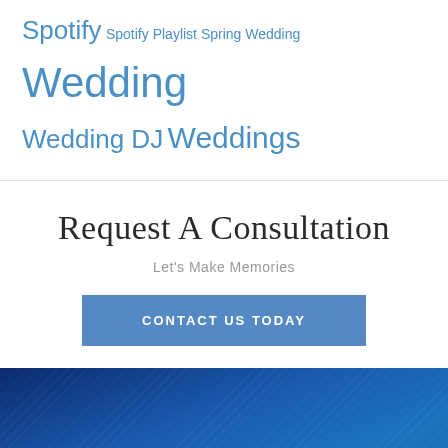Spotify Spotify Playlist Spring Wedding Wedding Wedding DJ Weddings
Request A Consultation
Let's Make Memories
CONTACT US TODAY
RECENT POSTS